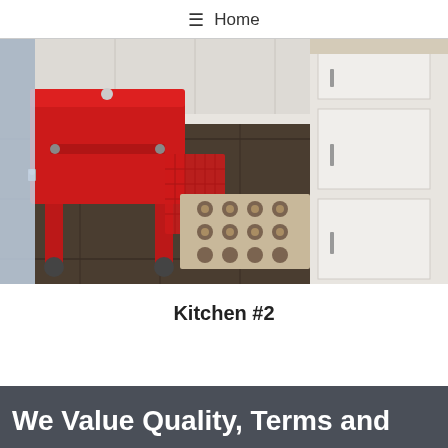≡ Home
[Figure (photo): Kitchen interior showing a red metal cooler on wheels on the left side, white shaker-style cabinets with silver bar handles on the right, dark gray tile flooring, a decorative patterned area rug in the middle, and white upper cabinets in the background.]
Kitchen #2
We Value Quality, Terms and